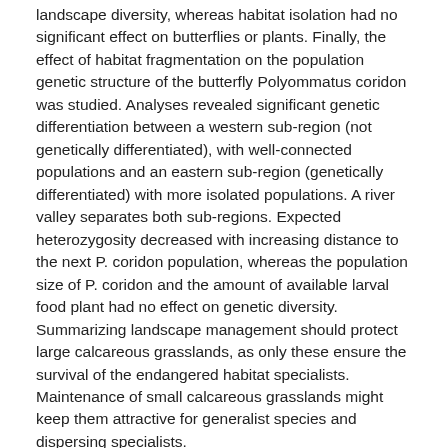landscape diversity, whereas habitat isolation had no significant effect on butterflies or plants. Finally, the effect of habitat fragmentation on the population genetic structure of the butterfly Polyommatus coridon was studied. Analyses revealed significant genetic differentiation between a western sub-region (not genetically differentiated), with well-connected populations and an eastern sub-region (genetically differentiated) with more isolated populations. A river valley separates both sub-regions. Expected heterozygosity decreased with increasing distance to the next P. coridon population, whereas the population size of P. coridon and the amount of available larval food plant had no effect on genetic diversity. Summarizing landscape management should protect large calcareous grasslands, as only these ensure the survival of the endangered habitat specialists. Maintenance of small calcareous grasslands might keep them attractive for generalist species and dispersing specialists.
Keywords: Ecology; habitat fragmentation; landscape context; butterflies; population genetics
Other Languages
Die Größe und Isolation von Lebensräumen und die